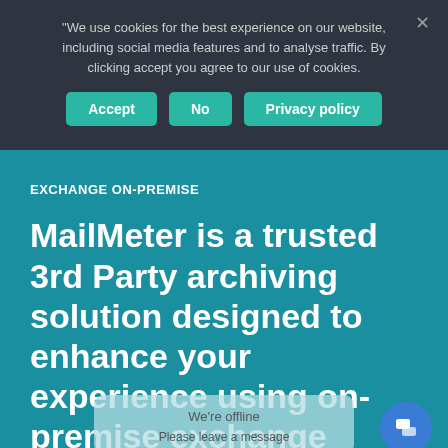"We use cookies for the best experience on our website, including social media features and to analyse traffic. By clicking accept you agree to our use of cookies.
Accept | No | Privacy policy
EXCHANGE ON-PREMISE
MailMeter is a trusted 3rd Party archiving solution designed to enhance your experience using on-premise exchange
We're offline
Please leave a message